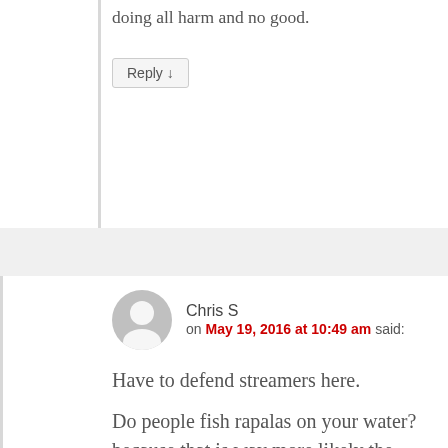doing all harm and no good.
Reply ↓
Chris S on May 19, 2016 at 10:49 am said:
Have to defend streamers here.
Do people fish rapalas on your water? because that is way more likely the culprit than 6" barbless streamers if that is the case. If you've ever fished heavily pressured bass water you've